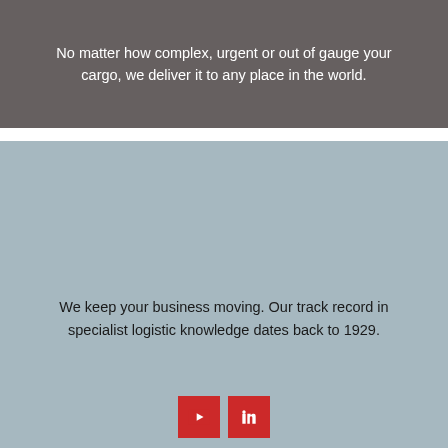No matter how complex, urgent or out of gauge your cargo, we deliver it to any place in the world.
We keep your business moving. Our track record in specialist logistic knowledge dates back to 1929.
[Figure (other): Two social media icon buttons: YouTube (red square with play icon) and LinkedIn (red square with LinkedIn logo)]